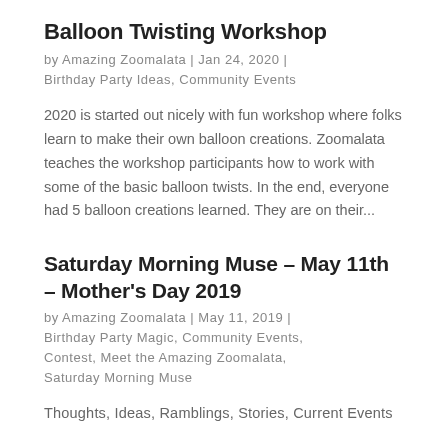Balloon Twisting Workshop
by Amazing Zoomalata | Jan 24, 2020 | Birthday Party Ideas, Community Events
2020 is started out nicely with fun workshop where folks learn to make their own balloon creations. Zoomalata teaches the workshop participants how to work with some of the basic balloon twists. In the end, everyone had 5 balloon creations learned. They are on their...
Saturday Morning Muse – May 11th – Mother's Day 2019
by Amazing Zoomalata | May 11, 2019 | Birthday Party Magic, Community Events, Contest, Meet the Amazing Zoomalata, Saturday Morning Muse
Thoughts, Ideas, Ramblings, Stories, Current Events